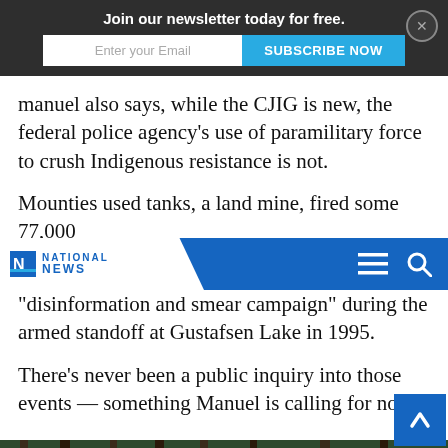Join our newsletter today for free. | Enter your Email | SUBSCRIBE NOW
Manuel also says, while the CJIG is new, the federal police agency's use of paramilitary force to crush Indigenous resistance is not.
Mounties used tanks, a land mine, fired some 77,000
[Figure (logo): National News logo with menu and search icons on blue navigation bar]
“disinformation and smear campaign” during the armed standoff at Gustafsen Lake in 1995.
There’s never been a public inquiry into those events — something Manuel is calling for now.
[Figure (photo): Police officers in black tactical gear standing in a forested area with orange traffic cone and yellow tape visible]